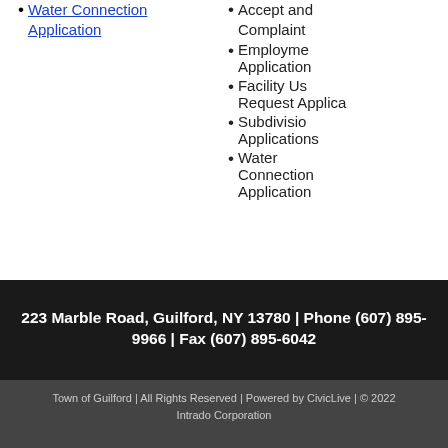Water Connection Application
Accept and Complaint
Employment Application
Facility Use Request Application
Subdivision Applications
Water Connection Application
223 Marble Road, Guilford, NY 13780 | Phone (607) 895-9966 | Fax (607) 895-6042
Town of Guilford | All Rights Reserved | Powered by CivicLive | © 2022 Intrado Corporation